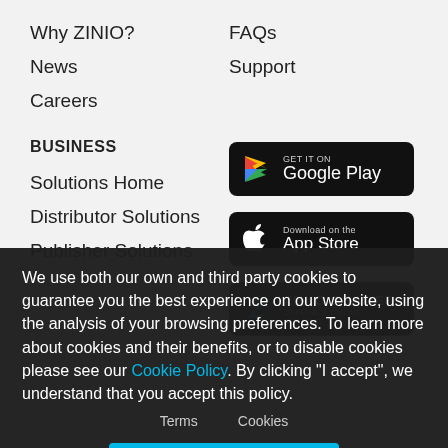Why ZINIO?
News
Careers
FAQs
Support
BUSINESS
Solutions Home
Distributor Solutions
Publisher Solutions
[Figure (screenshot): Google Play store badge button]
[Figure (screenshot): Apple App Store download badge button]
[Figure (screenshot): ZINIO Reader offline and online reading badge]
We use both our own and third party cookies to guarantee you the best experience on our website, using the analysis of your browsing preferences. To learn more about cookies and their benefits, or to disable cookies please see our Cookie Policy. By clicking "I accept", we understand that you accept this policy.
Terms   Cookies   © 2001 - 202... ts reserved.